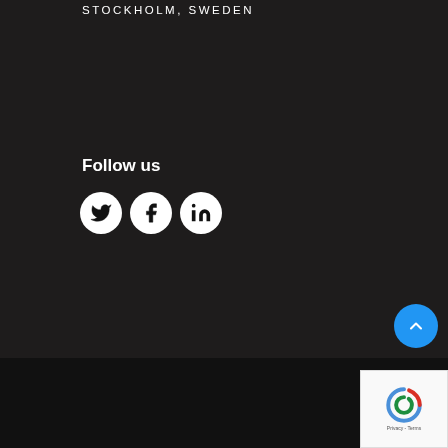STOCKHOLM, SWEDEN
Follow us
[Figure (illustration): Three social media icons: Twitter (bird), Facebook (f), LinkedIn (in), displayed as white circles with black icons on dark background]
[Figure (illustration): Blue circular scroll-to-top button with upward chevron arrow]
[Figure (illustration): reCAPTCHA badge with Privacy and Terms text]
LANSERA AB © 2022. ALL RIGHTS RESERVED. | DESIGNED BY WEBBHOTELLGRUPPEN.SE